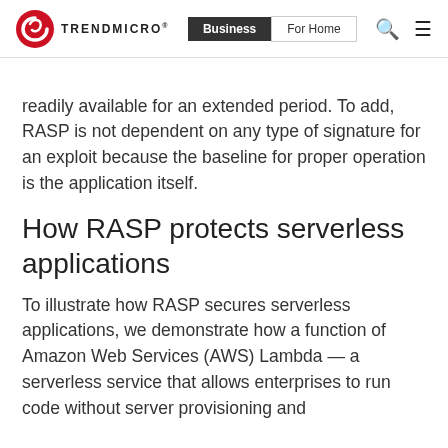Trend Micro | Business | For Home
readily available for an extended period. To add, RASP is not dependent on any type of signature for an exploit because the baseline for proper operation is the application itself.
How RASP protects serverless applications
To illustrate how RASP secures serverless applications, we demonstrate how a function of Amazon Web Services (AWS) Lambda — a serverless service that allows enterprises to run code without server provisioning and